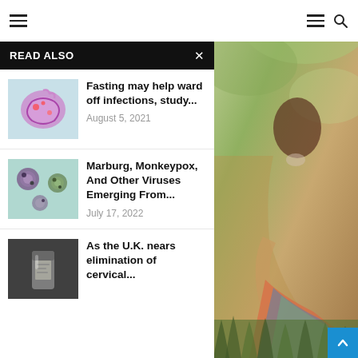Navigation header with hamburger menu and search icon
[Figure (photo): Background photo of a pregnant woman sitting in grass outdoors, wearing a black sports bra and colorful pants]
READ ALSO
[Figure (photo): Thumbnail image of stomach/gut bacteria illustration in pink and teal]
Fasting may help ward off infections, study...
August 5, 2021
[Figure (photo): Thumbnail microscope image showing virus cells, purple and green]
Marburg, Monkeypox, And Other Viruses Emerging From...
July 17, 2022
[Figure (photo): Thumbnail photo of a medical vial/bottle, dark background]
As the U.K. nears elimination of cervical...